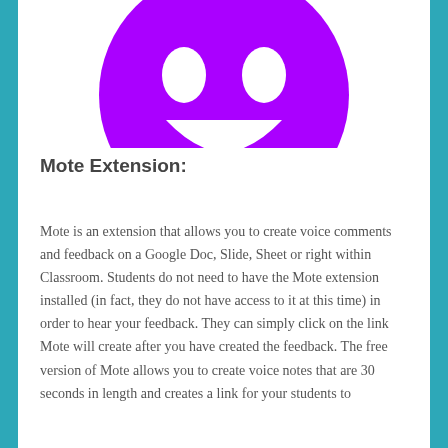[Figure (logo): Purple circular Mote logo icon, partially cropped at top of card]
Mote Extension:
Mote is an extension that allows you to create voice comments and feedback on a Google Doc, Slide, Sheet or right within Classroom. Students do not need to have the Mote extension installed (in fact, they do not have access to it at this time) in order to hear your feedback. They can simply click on the link Mote will create after you have created the feedback. The free version of Mote allows you to create voice notes that are 30 seconds in length and creates a link for your students to